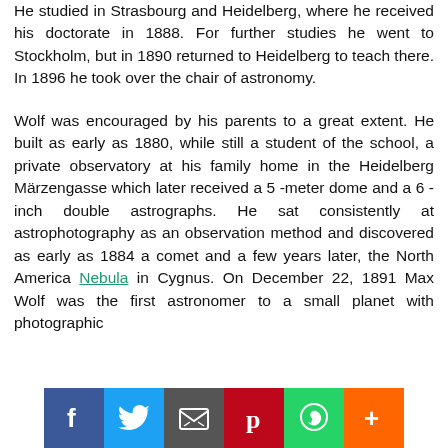He studied in Strasbourg and Heidelberg, where he received his doctorate in 1888. For further studies he went to Stockholm, but in 1890 returned to Heidelberg to teach there. In 1896 he took over the chair of astronomy.
Wolf was encouraged by his parents to a great extent. He built as early as 1880, while still a student of the school, a private observatory at his family home in the Heidelberg Märzengasse which later received a 5-meter dome and a 6-inch double astrographs. He sat consistently at astrophotography as an observation method and discovered as early as 1884 a comet and a few years later, the North America Nebula in Cygnus. On December 22, 1891 Max Wolf was the first astronomer to a small planet with photographic
[Figure (infographic): Social media sharing bar with Facebook, Twitter, email/share, Pinterest, WhatsApp, and More (+) buttons]